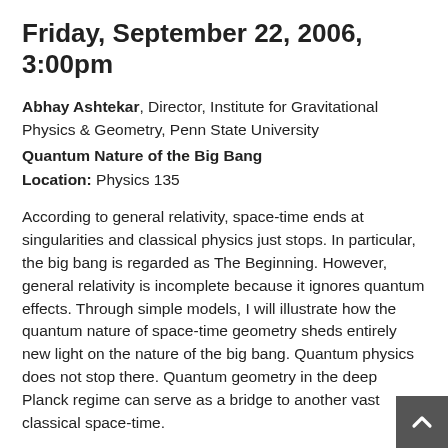Friday, September 22, 2006, 3:00pm
Abhay Ashtekar, Director, Institute for Gravitational Physics & Geometry, Penn State University
Quantum Nature of the Big Bang
Location: Physics 135
According to general relativity, space-time ends at singularities and classical physics just stops. In particular, the big bang is regarded as The Beginning. However, general relativity is incomplete because it ignores quantum effects. Through simple models, I will illustrate how the quantum nature of space-time geometry sheds entirely new light on the nature of the big bang. Quantum physics does not stop there. Quantum geometry in the deep Planck regime can serve as a bridge to another vast classical space-time.